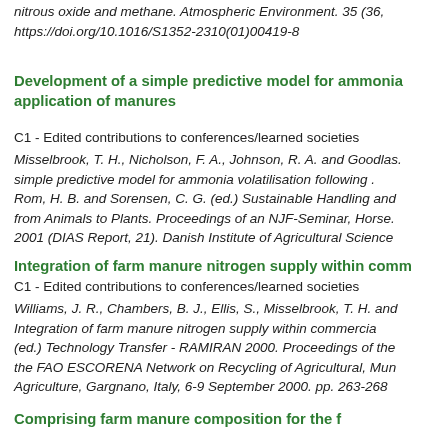nitrous oxide and methane. Atmospheric Environment. 35 (36, https://doi.org/10.1016/S1352-2310(01)00419-8
Development of a simple predictive model for ammonia application of manures
C1 - Edited contributions to conferences/learned societies
Misselbrook, T. H., Nicholson, F. A., Johnson, R. A. and Goodlas. simple predictive model for ammonia volatilisation following . Rom, H. B. and Sorensen, C. G. (ed.) Sustainable Handling and from Animals to Plants. Proceedings of an NJF-Seminar, Horse. 2001 (DIAS Report, 21). Danish Institute of Agricultural Science
Integration of farm manure nitrogen supply within comm
C1 - Edited contributions to conferences/learned societies
Williams, J. R., Chambers, B. J., Ellis, S., Misselbrook, T. H. and Integration of farm manure nitrogen supply within commercia (ed.) Technology Transfer - RAMIRAN 2000. Proceedings of the the FAO ESCORENA Network on Recycling of Agricultural, Mun Agriculture, Gargnano, Italy, 6-9 September 2000. pp. 263-268
Comprising farm manure composition for the f